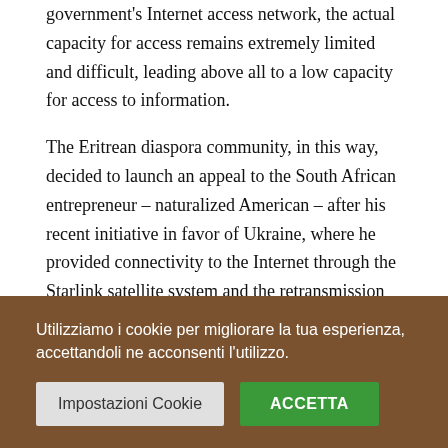government's Internet access network, the actual capacity for access remains extremely limited and difficult, leading above all to a low capacity for access to information.
The Eritrean diaspora community, in this way, decided to launch an appeal to the South African entrepreneur – naturalized American – after his recent initiative in favor of Ukraine, where he provided connectivity to the Internet through the Starlink satellite system and the retransmission station installed in Poland.
Although interesting and indicative of the Eritreans' evident
Utilizziamo i cookie per migliorare la tua esperienza, accettandoli ne acconsenti l'utilizzo.